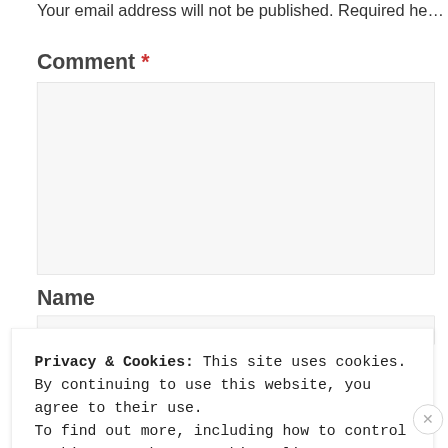Your email address will not be published. Required he…
Comment *
(comment text area)
Name
(name input field)
Privacy & Cookies: This site uses cookies. By continuing to use this website, you agree to their use.
To find out more, including how to control cookies, see here: Cookie Policy
Close and accept